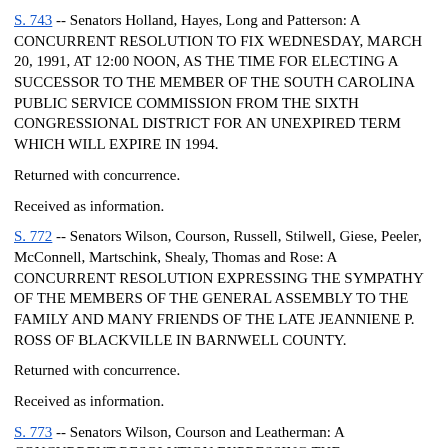S. 743 -- Senators Holland, Hayes, Long and Patterson: A CONCURRENT RESOLUTION TO FIX WEDNESDAY, MARCH 20, 1991, AT 12:00 NOON, AS THE TIME FOR ELECTING A SUCCESSOR TO THE MEMBER OF THE SOUTH CAROLINA PUBLIC SERVICE COMMISSION FROM THE SIXTH CONGRESSIONAL DISTRICT FOR AN UNEXPIRED TERM WHICH WILL EXPIRE IN 1994.
Returned with concurrence.
Received as information.
S. 772 -- Senators Wilson, Courson, Russell, Stilwell, Giese, Peeler, McConnell, Martschink, Shealy, Thomas and Rose: A CONCURRENT RESOLUTION EXPRESSING THE SYMPATHY OF THE MEMBERS OF THE GENERAL ASSEMBLY TO THE FAMILY AND MANY FRIENDS OF THE LATE JEANNIENE P. ROSS OF BLACKVILLE IN BARNWELL COUNTY.
Returned with concurrence.
Received as information.
S. 773 -- Senators Wilson, Courson and Leatherman: A CONCURRENT RESOLUTION EXPRESSING THE